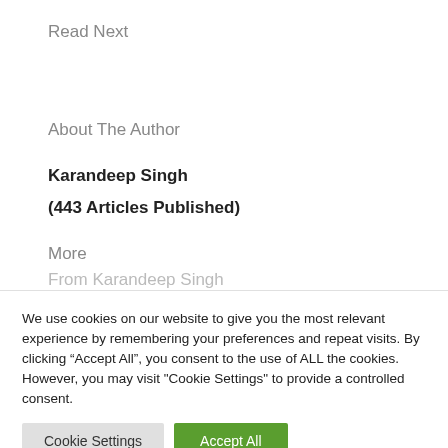Read Next
About The Author
Karandeep Singh
(443 Articles Published)
More
We use cookies on our website to give you the most relevant experience by remembering your preferences and repeat visits. By clicking “Accept All”, you consent to the use of ALL the cookies. However, you may visit "Cookie Settings" to provide a controlled consent.
Cookie Settings
Accept All